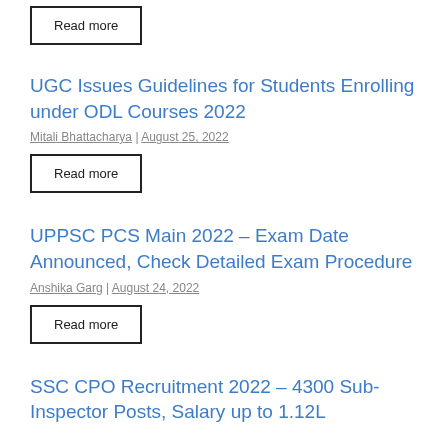Read more
UGC Issues Guidelines for Students Enrolling under ODL Courses 2022
Mitali Bhattacharya | August 25, 2022
Read more
UPPSC PCS Main 2022 – Exam Date Announced, Check Detailed Exam Procedure
Anshika Garg | August 24, 2022
Read more
SSC CPO Recruitment 2022 – 4300 Sub-Inspector Posts, Salary up to 1.12L